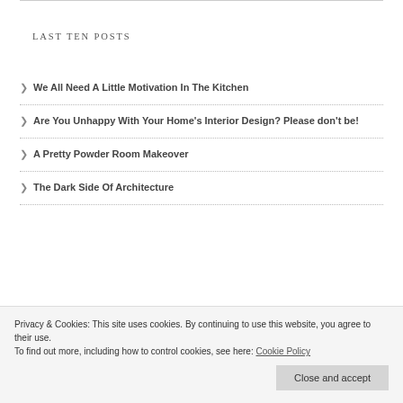LAST TEN POSTS
We All Need A Little Motivation In The Kitchen
Are You Unhappy With Your Home's Interior Design? Please don't be!
A Pretty Powder Room Makeover
The Dark Side Of Architecture
Privacy & Cookies: This site uses cookies. By continuing to use this website, you agree to their use. To find out more, including how to control cookies, see here: Cookie Policy
Close and accept